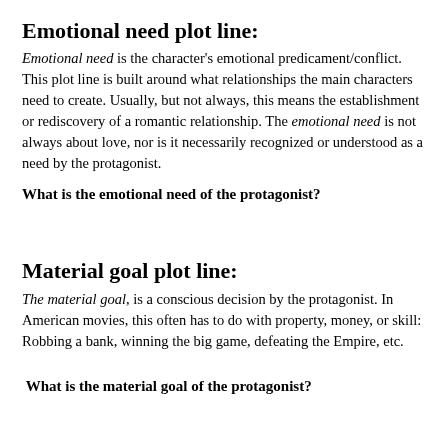Emotional need plot line:
Emotional need is the character's emotional predicament/conflict. This plot line is built around what relationships the main characters need to create. Usually, but not always, this means the establishment or rediscovery of a romantic relationship. The emotional need is not always about love, nor is it necessarily recognized or understood as a need by the protagonist.
What is the emotional need of the protagonist?
Material goal plot line:
The material goal, is a conscious decision by the protagonist. In American movies, this often has to do with property, money, or skill: Robbing a bank, winning the big game, defeating the Empire, etc.
What is the material goal of the protagonist?